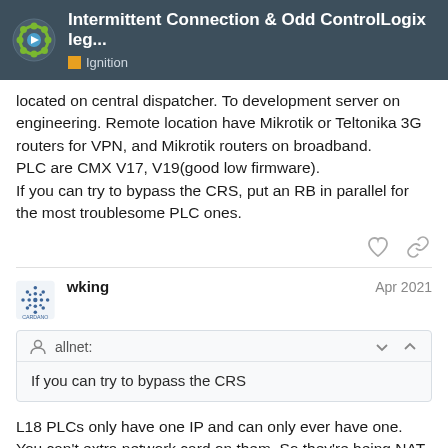Intermittent Connection & Odd ControlLogix leg... | Ignition
located on central dispatcher. To development server on engineering. Remote location have Mikrotik or Teltonika 3G routers for VPN, and Mikrotik routers on broadband. PLC are CMX V17, V19(good low firmware). If you can try to bypass the CRS, put an RB in parallel for the most troublesome PLC ones.
wking Apr 2021
allnet: If you can try to bypass the CRS
L18 PLCs only have one IP and can only ever have one. You can't extra network card on them. So they're being NAT routed